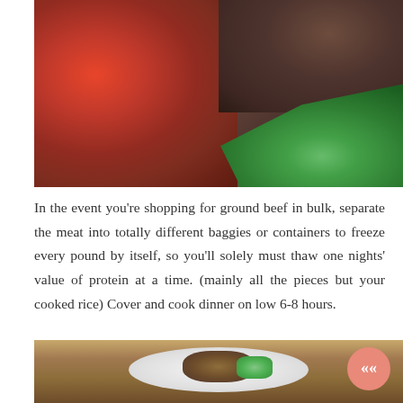[Figure (photo): Close-up photo of cooked meatballs or stuffed meat with red tomato sauce on the left, dark crusted meat in the background, and fresh green parsley garnish on a white plate, shot from above at an angle.]
In the event you're shopping for ground beef in bulk, separate the meat into totally different baggies or containers to freeze every pound by itself, so you'll solely must thaw one nights' value of protein at a time. (mainly all the pieces but your cooked rice) Cover and cook dinner on low 6-8 hours.
[Figure (photo): Partial bottom photo showing a plate with food including what appears to be cooked meat and green vegetables on a wooden surface.]